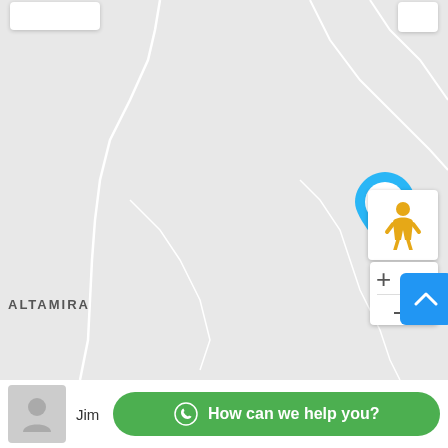[Figure (map): A map screenshot showing the region around Altamira with a blue location pin marking a store/business. The map has a light grey background with white road lines. UI controls visible include zoom in/out buttons, a scroll-to-top blue button, and a street view person icon.]
ALTAMIRA
Jim
How can we help you?